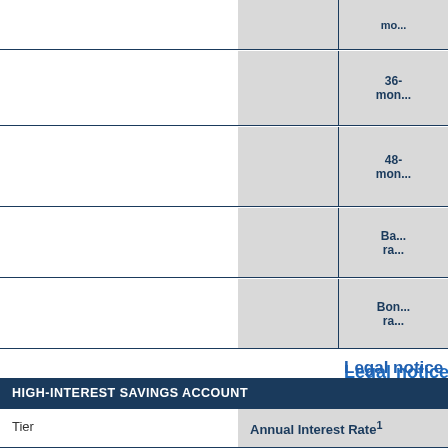|  |  |  |
| --- | --- | --- |
|  |  | mo... |
|  |  | 36-mon... |
|  |  | 48-mon... |
|  |  | Ba... ra... |
|  |  | Bon... ra... |
Legal notice
1. Rate effective as of October 13, 2020.
2. These accounts are no longer offered
* Rate including bonus
**Rate minus penalty
| HIGH-INTEREST SAVINGS ACCOUNT |  |  |
| --- | --- | --- |
| Tier | Annual Interest Rate¹ |  |